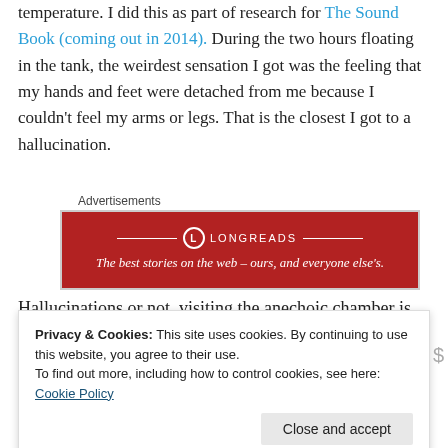temperature. I did this as part of research for The Sound Book (coming out in 2014). During the two hours floating in the tank, the weirdest sensation I got was the feeling that my hands and feet were detached from me because I couldn't feel my arms or legs. That is the closest I got to a hallucination.
Advertisements
[Figure (other): Longreads advertisement banner: red background with Longreads logo and tagline 'The best stories on the web – ours, and everyone else's.']
Hallucinations or not, visiting the anechoic chamber is strange and unnerving experience. We are hoping to open...
Privacy & Cookies: This site uses cookies. By continuing to use this website, you agree to their use.
To find out more, including how to control cookies, see here: Cookie Policy
Close and accept